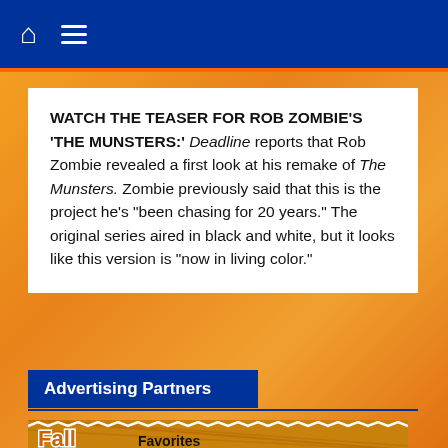Navigation bar with home icon and menu icon
WATCH THE TEASER FOR ROB ZOMBIE'S 'THE MUNSTERS:' Deadline reports that Rob Zombie revealed a first look at his remake of The Munsters. Zombie previously said that this is the project he's "been chasing for 20 years." The original series aired in black and white, but it looks like this version is "now in living color."
Advertising Partners
[Figure (illustration): Fall Favorites promotional advertisement with plaid orange background, decorative lace border, large stylized 'Fall' text, football and coffee cup graphics, and 'Favorites' text in bold black]